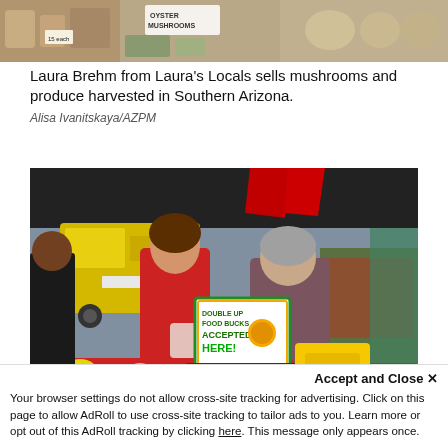[Figure (photo): Top strip photo showing farmers market stall with mushrooms and produce, sign reading 'OYSTER MUSHROOMS', and various items on display]
Laura Brehm from Laura's Locals sells mushrooms and produce harvested in Southern Arizona.
Alisa Ivanitskaya/AZPM
[Figure (photo): Outdoor farmers market photo: woman in red jacket shopping while older man in plaid shirt helps her at produce stall with tomatoes, oranges, and yellow baskets. A sign reads 'DOUBLE UP FOOD BUCKS ACCEPTED HERE!' with a logo. Background shows yellow van and green tent canopy.]
Larry from the Larry's Veggies with a customer. "When you get to spend...
Accept and Close ×
Your browser settings do not allow cross-site tracking for advertising. Click on this page to allow AdRoll to use cross-site tracking to tailor ads to you. Learn more or opt out of this AdRoll tracking by clicking here. This message only appears once.